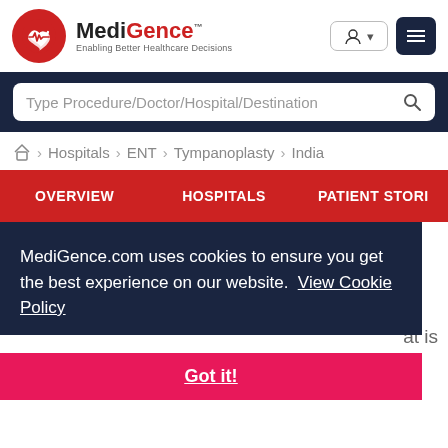[Figure (logo): MediGence logo with red circular icon containing heart and ECG line, brand name MediGence and tagline Enabling Better Healthcare Decisions]
Type Procedure/Doctor/Hospital/Destination (search bar)
Home > Hospitals > ENT > Tympanoplasty > India
OVERVIEW  HOSPITALS  PATIENT STORIES
MediGence.com uses cookies to ensure you get the best experience on our website. View Cookie Policy
at is
Got it!